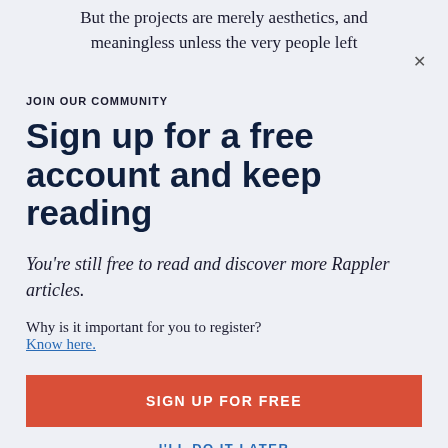But the projects are merely aesthetics, and meaningless unless the very people left
JOIN OUR COMMUNITY
Sign up for a free account and keep reading
You're still free to read and discover more Rappler articles.
Why is it important for you to register? Know here.
SIGN UP FOR FREE
I'LL DO IT LATER